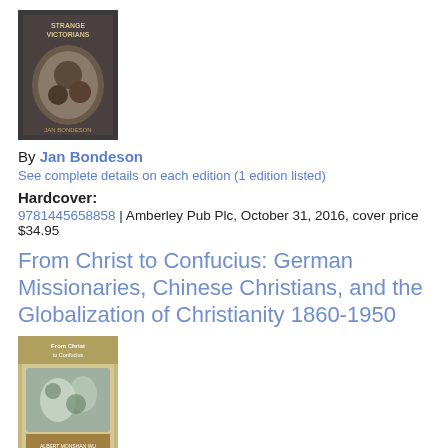[Figure (photo): Book cover for Strange Victorians by Jan Bondeson]
By Jan Bondeson
See complete details on each edition (1 edition listed)
Hardcover:
9781445658858 | Amberley Pub Plc, October 31, 2016, cover price $34.95
From Christ to Confucius: German Missionaries, Chinese Christians, and the Globalization of Christianity 1860-1950
[Figure (photo): Book cover for From Christ to Confucius by Albert Monshan Wu]
By Albert Monshan Wu
See complete details on each edition (1 edition listed)